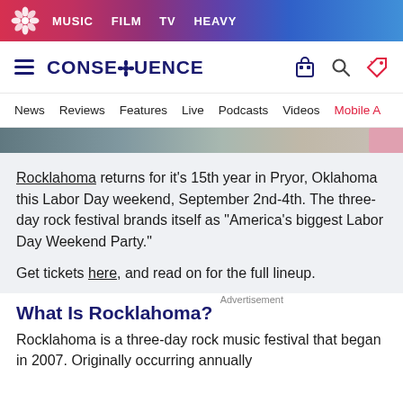MUSIC  FILM  TV  HEAVY
CONSEQUENCE  News  Reviews  Features  Live  Podcasts  Videos  Mobile A
[Figure (photo): Partial photo strip showing a person, fading into a pink/coral element on the right]
Rocklahoma returns for it's 15th year in Pryor, Oklahoma this Labor Day weekend, September 2nd-4th. The three-day rock festival brands itself as "America's biggest Labor Day Weekend Party."
Get tickets here, and read on for the full lineup.
What Is Rocklahoma?
Rocklahoma is a three-day rock music festival that began in 2007. Originally occurring annually